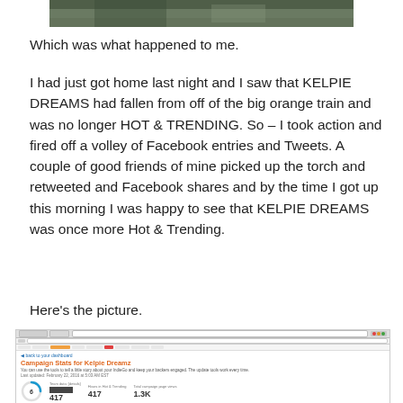[Figure (photo): Top portion of a photo, cropped, showing dark/green tones, appears to be an animal or outdoor scene]
Which was what happened to me.
I had just got home last night and I saw that KELPIE DREAMS had fallen from off of the big orange train and was no longer HOT & TRENDING. So – I took action and fired off a volley of Facebook entries and Tweets. A couple of good friends of mine picked up the torch and retweeted and Facebook shares and by the time I got up this morning I was happy to see that KELPIE DREAMS was once more Hot & Trending.
Here's the picture.
[Figure (screenshot): Screenshot of a web browser showing Campaign Stats for Kelpie Dreamz page. Shows stats including Hours in Hot & Trending: 417, Total campaign page views: 1.3K, and a circular gauge showing 6.]